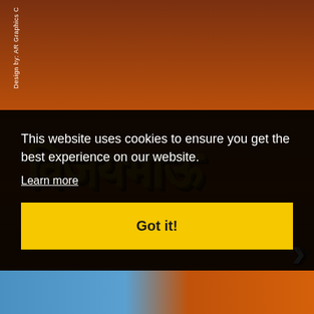[Figure (photo): Marathi movie poster background showing a man in white shirt with gold and orange large Devanagari title text 'विजयभाऊ' and subtitle text. Side watermark reads 'Design by: AR Graphics C...']
This website uses cookies to ensure you get the best experience on our website.
Learn more
Got it!